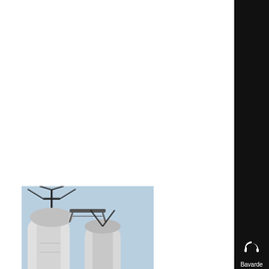[Figure (photo): Industrial or windmill structure with large mechanical arms, cylindrical towers, photographed from below against a blue sky.]
COMTESSE DE BOIGNE - gutenbergorg
Il offrit de le donner, il offrit de le vendre, il offrit de le faire ô à ses , tombés en désuétude à , la loyauté du maréchal et à en être ....